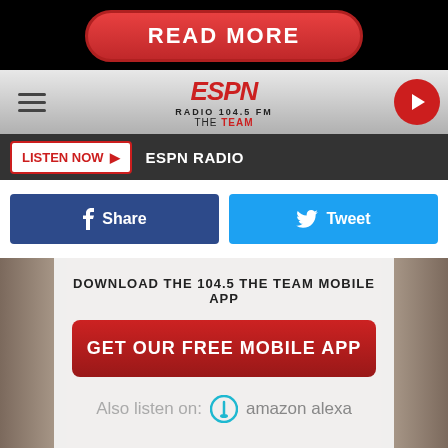[Figure (screenshot): READ MORE button - red rounded pill button on black background]
[Figure (screenshot): ESPN Radio 104.5 FM The Team header with hamburger menu, logo, and play button]
LISTEN NOW ▶  ESPN RADIO
[Figure (screenshot): Social sharing buttons: f Share (Facebook blue) and Tweet (Twitter blue)]
DOWNLOAD THE 104.5 THE TEAM MOBILE APP
GET OUR FREE MOBILE APP
Also listen on:  amazon alexa
[Figure (screenshot): BitLife advertisement banner: WHEN REAL LIFE IS QUARANTINED with BitLife logo and emoji characters]